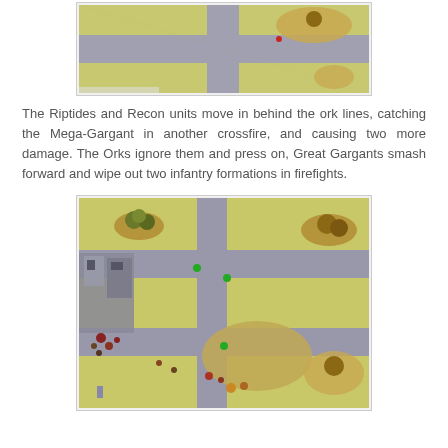[Figure (photo): Top portion of a miniature wargaming table with yellow-green mat, roads, and terrain features including trees and patches, viewed from above.]
The Riptides and Recon units move in behind the ork lines, catching the Mega-Gargant in another crossfire, and causing two more damage. The Orks ignore them and press on, Great Gargants smash forward and wipe out two infantry formations in firefights.
[Figure (photo): Miniature wargaming table showing a yellow-green mat with road intersections, ruins on the left side, terrain hills and tree clusters, and various miniature figures including ork units spread across the battlefield.]